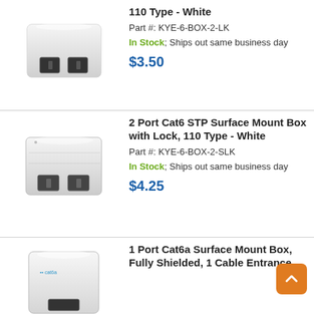[Figure (photo): 2 Port Cat6 Surface Mount Box with Lock, 110 Type - White product photo (small white networking box with two ports)]
110 Type - White
Part #: KYE-6-BOX-2-LK
In Stock; Ships out same business day
$3.50
[Figure (photo): 2 Port Cat6 STP Surface Mount Box with Lock, 110 Type - White product photo]
2 Port Cat6 STP Surface Mount Box with Lock, 110 Type - White
Part #: KYE-6-BOX-2-SLK
In Stock; Ships out same business day
$4.25
[Figure (photo): 1 Port Cat6a Surface Mount Box, Fully Shielded, 1 Cable Entrance product photo]
1 Port Cat6a Surface Mount Box, Fully Shielded, 1 Cable Entrance